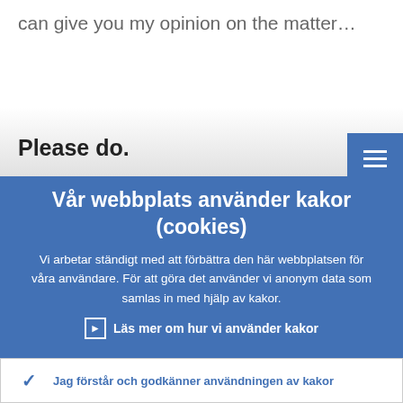can give you my opinion on the matter…
Please do.
Vår webbplats använder kakor (cookies)
Vi arbetar ständigt med att förbättra den här webbplatsen för våra användare. För att göra det använder vi anonym data som samlas in med hjälp av kakor.
Läs mer om hur vi använder kakor
Jag förstår och godkänner användningen av kakor
Jag godkänner inte användningen av kakor